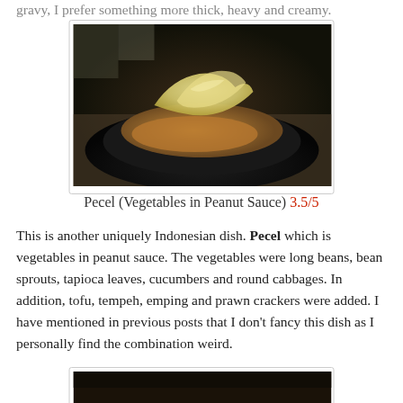gravy, I prefer something more thick, heavy and creamy.
[Figure (photo): A black plate with Pecel dish - vegetables in peanut sauce with crackers on top, placed on a wooden surface.]
Pecel (Vegetables in Peanut Sauce) 3.5/5
This is another uniquely Indonesian dish. Pecel which is vegetables in peanut sauce. The vegetables were long beans, bean sprouts, tapioca leaves, cucumbers and round cabbages. In addition, tofu, tempeh, emping and prawn crackers were added. I have mentioned in previous posts that I don't fancy this dish as I personally find the combination weird.
[Figure (photo): Bottom portion of another food dish photo, partially visible.]